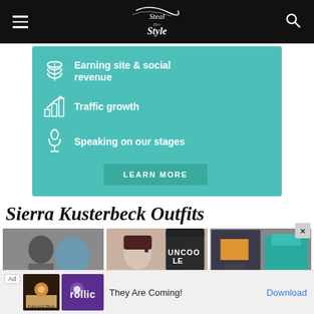Steal Her Style
[Figure (infographic): Teal banner ad with dollar sign icon and 'Earning site & social revenue', bar chart icon and 'Traffic growth', microphone icon and 'Speaking on our stages', and a LEARN MORE button]
Sierra Kusterbeck Outfits
[Figure (photo): Three thumbnail photos of people/outfits side by side]
[Figure (infographic): Ad bar at bottom: Rollic game ad with 'They Are Coming!' and Download link]